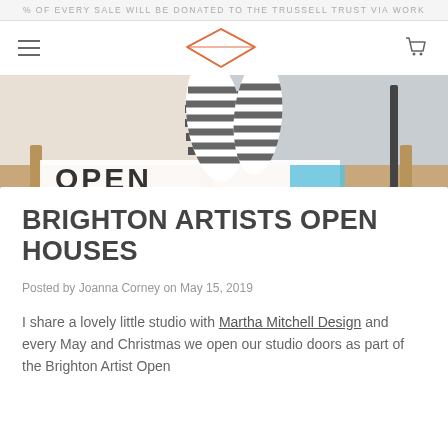% OF EVERY SALE WILL BE DONATED TO THE TRUSSELL TRUST VIA WORK
[Figure (screenshot): Website navigation bar with hamburger menu on left, orange envelope/diamond logo in center, shopping cart icon on right]
[Figure (photo): Photo of an open studio sign reading OPEN with striped decorative sail-shaped objects and wooden fence in background]
BRIGHTON ARTISTS OPEN HOUSES
Posted by Joanna Corney on May 15, 2019
I share a lovely little studio with Martha Mitchell Design and every May and Christmas we open our studio doors as part of the Brighton Artist Open